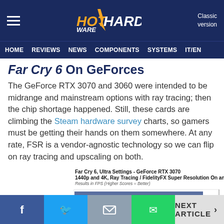HotHardware - Classic version
HOME  REVIEWS  NEWS  COMPONENTS  SYSTEMS  IT/EN
Far Cry 6 On GeForces
The GeForce RTX 3070 and 3060 were intended to be midrange and mainstream options with ray tracing; then the chip shortage happened. Still, these cards are climbing the Steam hardware survey charts, so gamers must be getting their hands on them somewhere. At any rate, FSR is a vendor-agnostic technology so we can flip on ray tracing and upscaling on both.
[Figure (bar-chart): Far Cry 6, Ultra Settings - GeForce RTX 3070 1440p and 4K, Ray Tracing / FidelityFX Super Resolution On and Off]
f  twitter  email  whatsapp  NEXT ARTICLE >